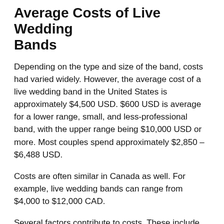Average Costs of Live Wedding Bands
Depending on the type and size of the band, costs had varied widely. However, the average cost of a live wedding band in the United States is approximately $4,500 USD. $600 USD is average for a lower range, small, and less-professional band, with the upper range being $10,000 USD or more. Most couples spend approximately $2,850 – $6,488 USD.
Costs are often similar in Canada as well. For example, live wedding bands can range from $4,000 to $12,000 CAD.
Several factors contribute to costs. These include how long the band will be performing at the wedding. Most bands charge per set-time but charge extra for after-hours parties and cocktail hour. Secondly, the fewer performers, the cheaper the cost, the more performers, the higher the